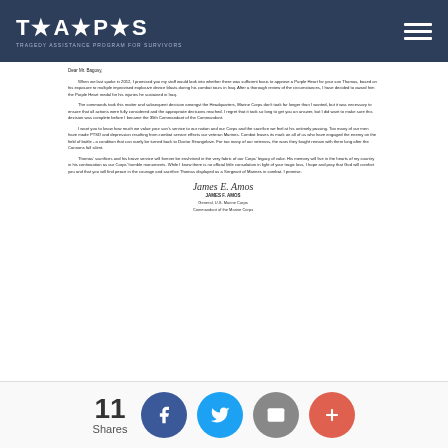T★A★P★S
[Figure (photo): Scanned letter from General James F. Amos, Commandant of the Marine Corps, addressed to Mr. Bagosy regarding the Purple Heart medal decision for his son.]
A Father's Quest to Honor his Son
Okay, it's finished! The quest to honor my son, SGT Thomas R Bagosy USMC is complete.
11/24/2014 - Bob Bagosy
[Figure (photo): Dark photo strip showing a person, partially visible at the bottom of the page.]
11 Shares